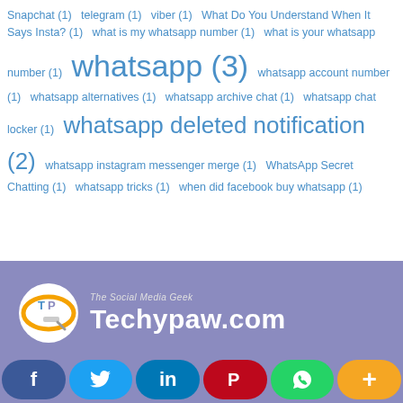Snapchat (1)  telegram (1)  viber (1)  What Do You Understand When It Says Insta? (1)  what is my whatsapp number (1)  what is your whatsapp number (1)  whatsapp (3)  whatsapp account number (1)  whatsapp alternatives (1)  whatsapp archive chat (1)  whatsapp chat locker (1)  whatsapp deleted notification (2)  whatsapp instagram messenger merge (1)  WhatsApp Secret Chatting (1)  whatsapp tricks (1)  when did facebook buy whatsapp (1)
[Figure (logo): Techypaw.com logo with orange/white circular icon containing 'TP' letters and a search symbol, on purple/blue background with tagline 'The Social Media Geek']
[Figure (infographic): Social media share buttons bar: Facebook (blue), Twitter (light blue), LinkedIn (dark blue), Pinterest (red), WhatsApp (green), Plus/More (orange)]